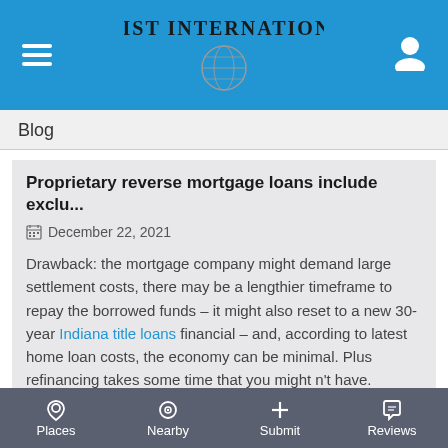A LIST INTERNATIONAL
Blog
Proprietary reverse mortgage loans include exclu...
December 22, 2021
Drawback: the mortgage company might demand large settlement costs, there may be a lengthier timeframe to repay the borrowed funds – it might also reset to a new 30-year Indiana title loans financial – and, according to latest home loan costs, the economy can be minimal. Plus refinancing takes some time that you might n't have.
Cash-Out Refinance
Places  Nearby  Submit  Reviews